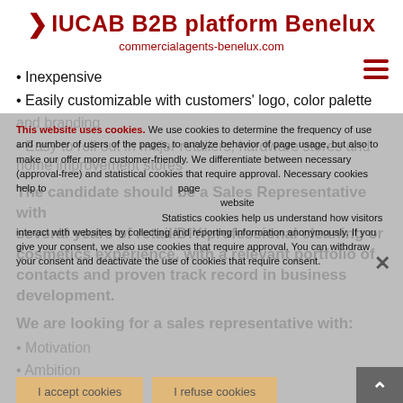IUCAB B2B platform Benelux
commercialagents-benelux.com
Inexpensive
Easily customizable with customers' logo, color palette and branding
Easy to roll out in major retailers, hardware stores and home improvement stores
The candidate should be a Sales Representative with several years of retail/DIY/professional cleaning or cosmetics experience, with a relevant portfolio of contacts and proven track record in business development.
We are looking for a sales representative with:
Motivation
Ambition
This website uses cookies. We use cookies to determine the frequency of use and number of users of the pages, to analyze behavior of page usage, but also to make our offer more customer-friendly. We differentiate between necessary (approval-free) and statistical cookies that require approval. Necessary cookies help to page website Statistics cookies help us understand how visitors interact with websites by collecting and reporting information anonymously. If you give your consent, we also use cookies that require approval. You can withdraw your consent and deactivate the use of cookies that require consent.